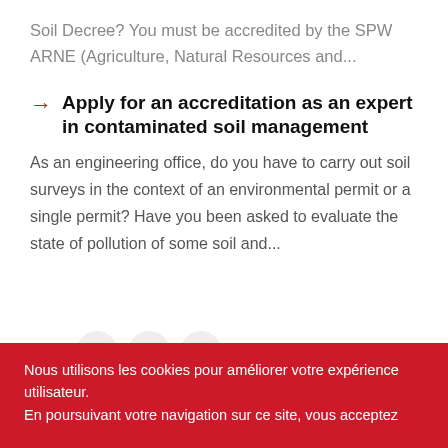Soil Decree? You must be accredited by the SPW ARNE (Agriculture, Natural Resources and...
Apply for an accreditation as an expert in contaminated soil management
As an engineering office, do you have to carry out soil surveys in the context of an environmental permit or a single permit? Have you been asked to evaluate the state of pollution of some soil and...
1  2  3  ▶
Nous utilisons les cookies pour améliorer votre expérience utilisateur.
En poursuivant votre navigation sur ce site, vous acceptez